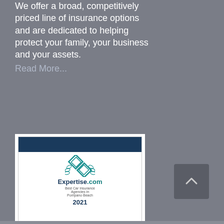We offer a broad, competitively priced line of insurance options and are dedicated to helping protect your family, your business and your assets. Read More...
[Figure (logo): Expertise.com badge: Best Car Insurance Agencies in Pompano Beach 2021. White background badge with teal diamond logo, navy text, teal laurel wreath border, and year 2021.]